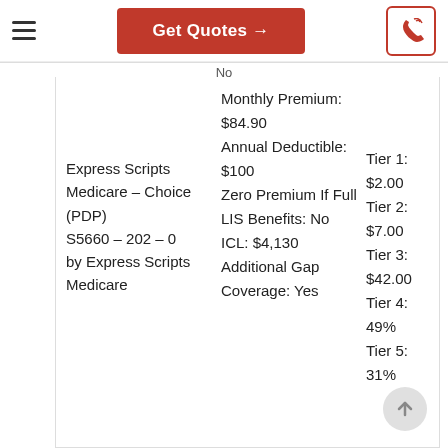Get Quotes →
Express Scripts Medicare – Choice (PDP)
S5660 – 202 – 0
by Express Scripts Medicare
Monthly Premium: $84.90
Annual Deductible: $100
Zero Premium If Full LIS Benefits: No
ICL: $4,130
Additional Gap Coverage: Yes
Tier 1: $2.00
Tier 2: $7.00
Tier 3: $42.00
Tier 4: 49%
Tier 5: 31%